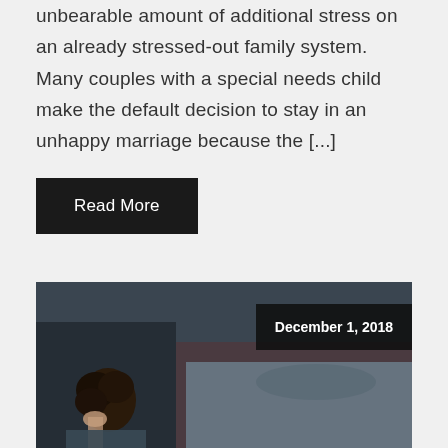unbearable amount of additional stress on an already stressed-out family system.  Many couples with a special needs child make the default decision to stay in an unhappy marriage because the [...]
Read More
[Figure (photo): Photo of a person with curly dark hair resting head on hand, appearing distressed, with another person lying in bed in background. Dark, moody bedroom setting. Date badge showing December 1, 2018 in upper right.]